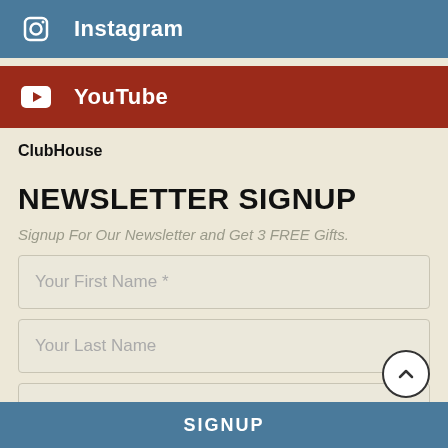Instagram
YouTube
ClubHouse
NEWSLETTER SIGNUP
Signup For Our Newsletter and Get 3 FREE Gifts.
Your First Name *
Your Last Name
Your Email Address *
SIGNUP